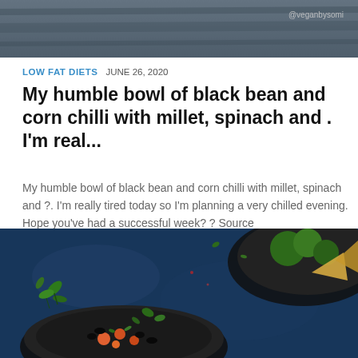[Figure (photo): Top portion of a food/recipe blog post image with dark background and watermark @veganbysomi]
LOW FAT DIETS  JUNE 26, 2020
My humble bowl of black bean and corn chilli with millet, spinach and . I'm real...
My humble bowl of black bean and corn chilli with millet, spinach and ?. I'm really tired today so I'm planning a very chilled evening. Hope you've had a successful week? ? Source
[Figure (photo): Food photography showing dark bowls with black bean chilli, broccoli and tortilla chips on a deep blue surface with fresh herbs scattered around]